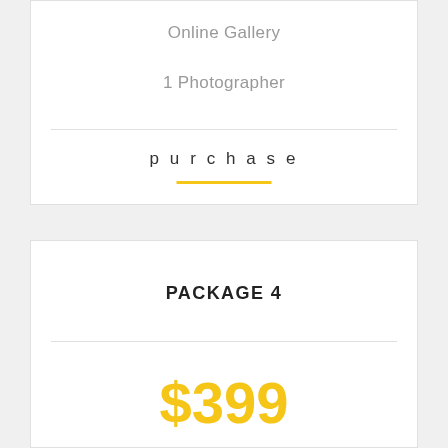Online Gallery
1 Photographer
purchase
PACKAGE 4
$399